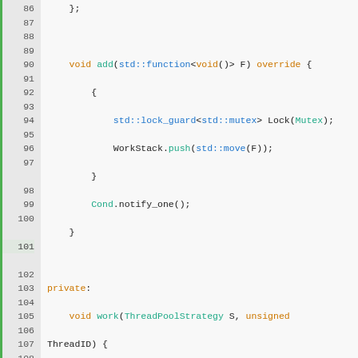[Figure (screenshot): C++ source code showing a thread pool implementation with line numbers 86-117. Code includes add() method with mutex lock, work() method with while loop and condition variable, and member variable declarations.]